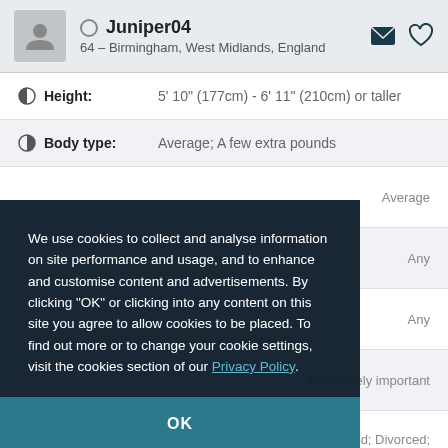Juniper04 – 64 – Birmingham, West Midlands, England
Height: 5' 10" (177cm) - 6' 11" (210cm) or taller
Body type: Average; A few extra pounds
Average
Any
Any
Moderately important
Relationship status: Single; Separated; Divorced; Widowed
We use cookies to collect and analyse information on site performance and usage, and to enhance and customise content and advertisements. By clicking "OK" or clicking into any content on this site you agree to allow cookies to be placed. To find out more or to change your cookie settings, visit the cookies section of our Privacy Policy.
OK